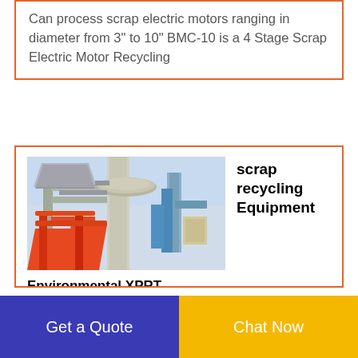Can process scrap electric motors ranging in diameter from 3" to 10" BMC-10 is a 4 Stage Scrap Electric Motor Recycling
[Figure (photo): Industrial scrap recycling equipment machinery with metal pipes, conveyor components, orange/red structural parts and blue tubes against a light sky background]
scrap recycling Equipment
Environmental XPRT
Results for scrap recycling equipment from Enerpat Ecohydraulic Harden® and other leading brands. Compare and contact a supplier near you
Get a Quote
Chat Now